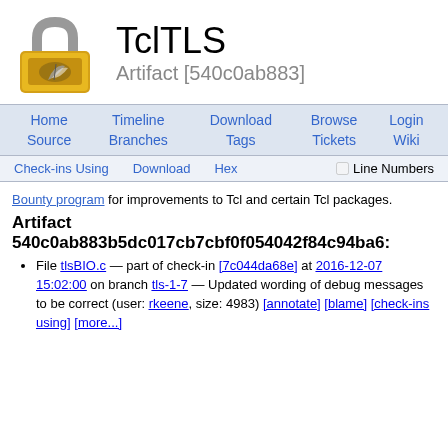[Figure (logo): TclTLS padlock logo — gold padlock with a feather/quill emblem on a square face, gray shackle]
TclTLS
Artifact [540c0ab883]
Home  Timeline  Download  Browse  Login  Source  Branches  Tags  Tickets  Wiki
Check-ins Using  Download  Hex  □ Line Numbers
Bounty program for improvements to Tcl and certain Tcl packages.
Artifact 540c0ab883b5dc017cb7cbf0f054042f84c94ba6:
File tlsBIO.c — part of check-in [7c044da68e] at 2016-12-07 15:02:00 on branch tls-1-7 — Updated wording of debug messages to be correct (user: rkeene, size: 4983) [annotate] [blame] [check-ins using] [more...]